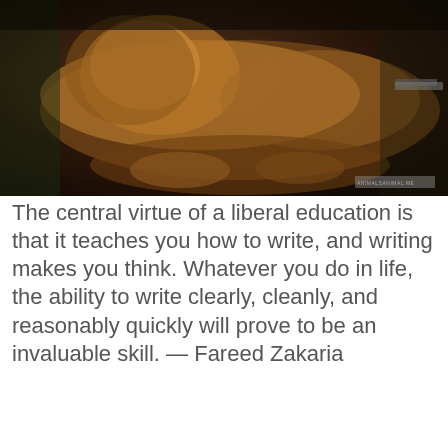[Figure (photo): A golden-brown dog or lion-like animal resting, photographed with dark warm tones. A small watermark/logo appears in the bottom-right corner of the image.]
The central virtue of a liberal education is that it teaches you how to write, and writing makes you think. Whatever you do in life, the ability to write clearly, cleanly, and reasonably quickly will prove to be an invaluable skill. — Fareed Zakaria
[Figure (screenshot): A dark video player showing a scene with people in low light, overlaid with the text 'No compatible source was found for this media.' and a large X symbol in the center.]